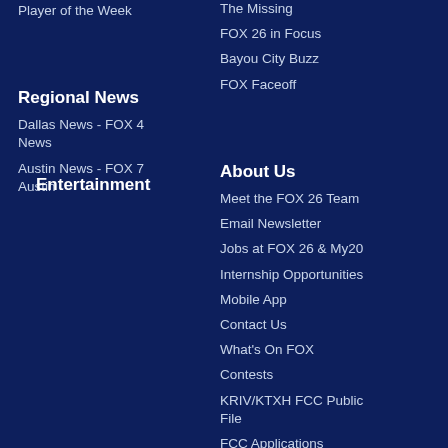Player of the Week
The Missing
FOX 26 in Focus
Bayou City Buzz
FOX Faceoff
Regional News
Dallas News - FOX 4 News
Austin News - FOX 7 Austin
About Us
Meet the FOX 26 Team
Email Newsletter
Jobs at FOX 26 & My20
Internship Opportunities
Mobile App
Contact Us
What's On FOX
Contests
KRIV/KTXH FCC Public File
FCC Applications
Entertainment